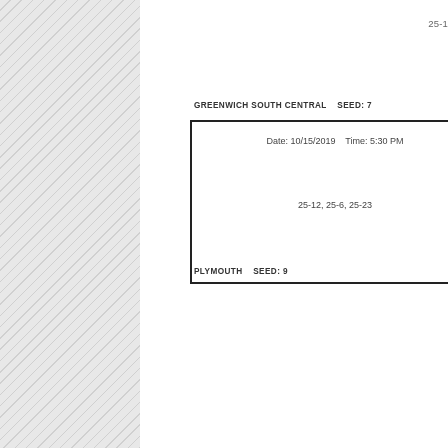25-1
[Figure (other): Tournament bracket showing match between GREENWICH SOUTH CENTRAL (Seed: 7) and PLYMOUTH (Seed: 9) on Date: 10/15/2019, Time: 5:30 PM, score 25-12, 25-6, 25-23. Greenwich South Central wins 3-0 and advances. Lower portion shows NEW WASHINGTON BUCKEYE match on Date: 10/17, score 25-14.]